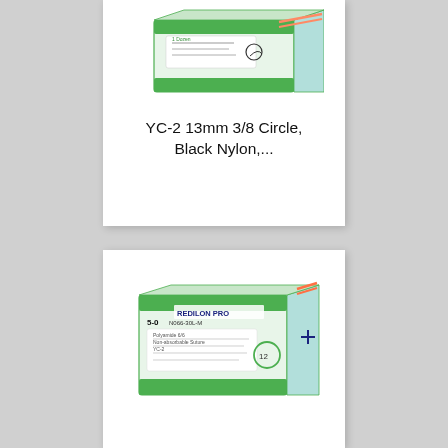[Figure (photo): Product photo of a green and white medical suture box (YC-2 13mm 3/8 Circle, Black Nylon) viewed at an angle, partially cropped at the top]
YC-2 13mm 3/8 Circle, Black Nylon,...
[Figure (photo): Product photo of a green and white medical suture box labeled REDILON PRO, 5-0 N066-30L-M, Polyamide 6/6, lying on its side]